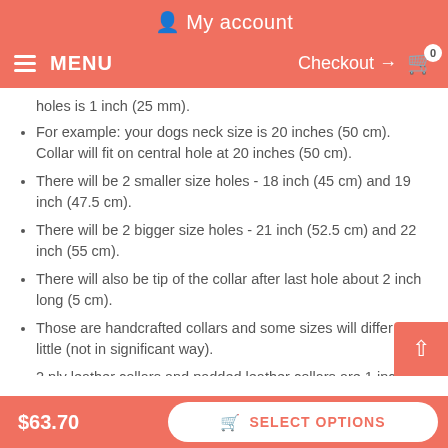My account
MENU   Checkout → 0
holes is 1 inch (25 mm).
For example: your dogs neck size is 20 inches (50 cm). Collar will fit on central hole at 20 inches (50 cm).
There will be 2 smaller size holes - 18 inch (45 cm) and 19 inch (47.5 cm).
There will be 2 bigger size holes - 21 inch (52.5 cm) and 22 inch (55 cm).
There will also be tip of the collar after last hole about 2 inch long (5 cm).
Those are handcrafted collars and some sizes will differ a little (not in significant way).
2 ply leather collars and padded leather collars are 1 inc bigger to make sure that it will fit your dog.
$63.70   SELECT OPTIONS